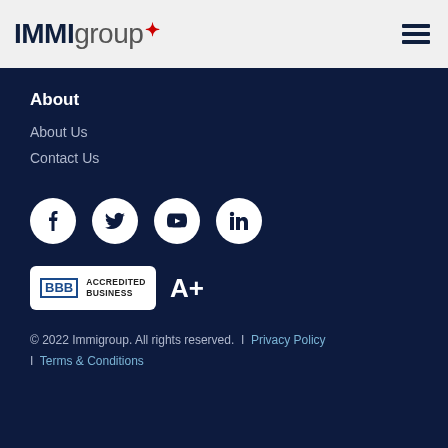IMMIgroup
About
About Us
Contact Us
[Figure (logo): Social media icons: Facebook, Twitter, YouTube, LinkedIn]
[Figure (logo): BBB Accredited Business badge with A+ rating]
© 2022 Immigroup. All rights reserved.  |  Privacy Policy  |  Terms & Conditions